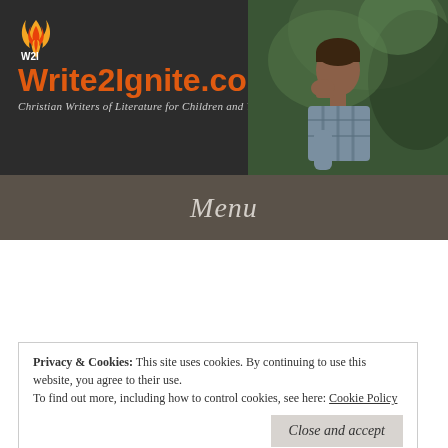[Figure (screenshot): Write2Ignite.com website header banner with logo, site title in orange, tagline in gray italic, and a photo of a young boy reading/thinking against a green nature background]
Menu
Create Free and Easy Lumen5 Videos For Social Media by Ava Pennington
Posted on October 15, 2020 by
Privacy & Cookies: This site uses cookies. By continuing to use this website, you agree to their use.
To find out more, including how to control cookies, see here: Cookie Policy
Media Using Lumen5 videos